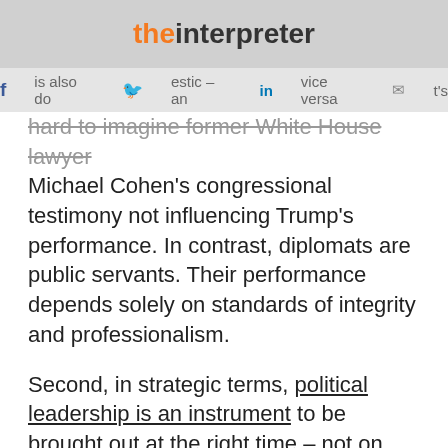the interpreter
external is also domestic – and vice versa. It's hard to imagine former White House lawyer Michael Cohen's congressional testimony not influencing Trump's performance. In contrast, diplomats are public servants. Their performance depends solely on standards of integrity and professionalism.
Second, in strategic terms, political leadership is an instrument to be brought out at the right time – not on opening. In chess, leadership pieces are played at the right time. The King is vulnerable and is protected, the Queen is powerful and used strategically. Why send the leaders out at the